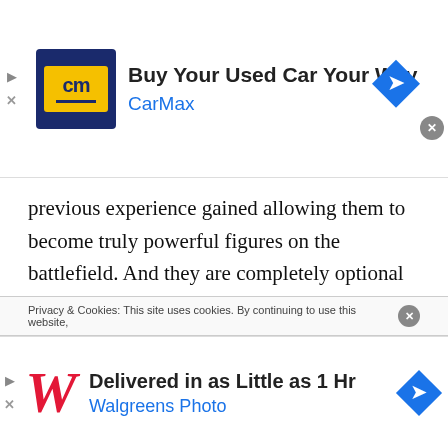[Figure (screenshot): CarMax advertisement banner: logo with 'cm' on yellow background, text 'Buy Your Used Car Your Way' and 'CarMax', navigation icon]
previous experience gained allowing them to become truly powerful figures on the battlefield. And they are completely optional to use. So those seeking a tougher challenge can simply not call on them.
There is also a world map the player can explore between missions. The purpose of this is to discover caches of coins and map packs that can be purchased in the shop. These map packs are used in the skirmish mode and are gotten only
Privacy & Cookies: This site uses cookies. By continuing to use this website,
[Figure (screenshot): Walgreens Photo advertisement banner: Walgreens 'W' logo in red italic, text 'Delivered in as Little as 1 Hr' and 'Walgreens Photo', navigation icon]